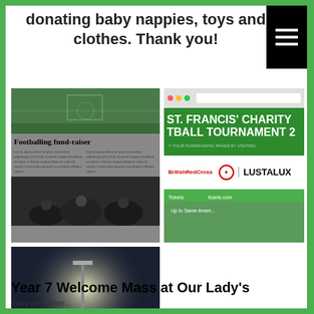donating baby nappies, toys and clothes. Thank you!
[Figure (photo): Composite of three photos: top-left shows a newspaper article titled 'Footballing fund-raiser' with a football match image and crowd; top-right shows a St. Francis' Charity Football Tournament 2 poster with British Red Cross and Lustalux logos; bottom-left shows a group of people gathered at a night football event under floodlights.]
Year 7 Welcome Mass at Our Lady's
They are here...